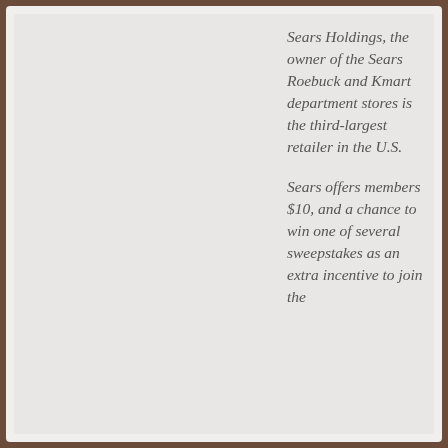Sears Holdings, the owner of the Sears Roebuck and Kmart department stores is the third-largest retailer in the U.S.
Sears offers members $10, and a chance to win one of several sweepstakes as an extra incentive to join the